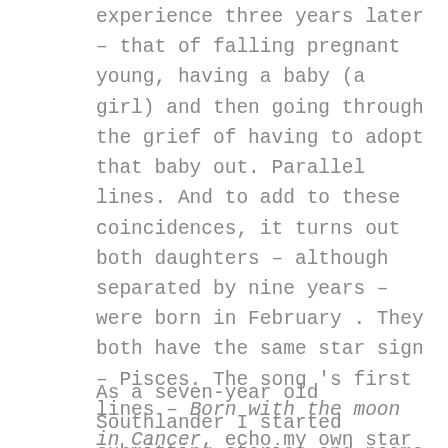experience three years later – that of falling pregnant young, having a baby (a girl) and then going through the grief of having to adopt that baby out. Parallel lines. And to add to these coincidences, it turns out both daughters – although separated by nine years – were born in February . They both have the same star sign – Pisces. The song 's first lines – Born with the moon in Cancer, echo my own star sign. Those parallels. Always there if you go looking for them. All the same, it's clear that it is those parallels that serve to tie me even closer to Joni Mitchell and her music. We have travelled along similar lines.
As a seven-year old Southlander I started submitting stories and poems (alternating each